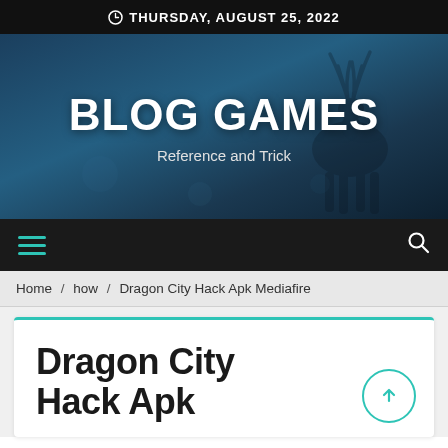THURSDAY, AUGUST 25, 2022
[Figure (illustration): Blog Games website hero banner with a dark blue background showing a silhouette of a deer/elk with antlers, with large white bold text 'BLOG GAMES' and subtitle 'Reference and Trick']
BLOG GAMES
Reference and Trick
Home / how / Dragon City Hack Apk Mediafire
Dragon City Hack Apk